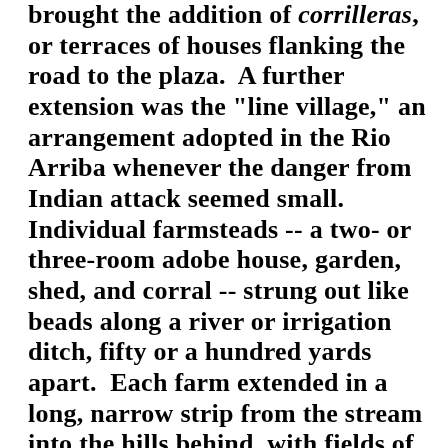brought the addition of corrilleras, or terraces of houses flanking the road to the plaza.  A further extension was the "line village," an arrangement adopted in the Rio Arriba whenever the danger from Indian attack seemed small.  Individual farmsteads -- a two- or three-room adobe house, garden, shed, and corral -- strung out like beads along a river or irrigation ditch, fifty or a hundred yards apart.  Each farm extended in a long, narrow strip from the stream into the hills behind, with fields of grain and gardens of beans and